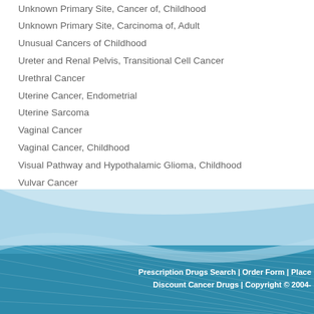Unknown Primary Site, Cancer of, Childhood
Unknown Primary Site, Carcinoma of, Adult
Unusual Cancers of Childhood
Ureter and Renal Pelvis, Transitional Cell Cancer
Urethral Cancer
Uterine Cancer, Endometrial
Uterine Sarcoma
Vaginal Cancer
Vaginal Cancer, Childhood
Visual Pathway and Hypothalamic Glioma, Childhood
Vulvar Cancer
Waldenstrom Macroglobulinemia
Wilms Tumor
Women's Cancers
Prescription Drugs Search | Order Form | Place Discount Cancer Drugs | Copyright © 2004-